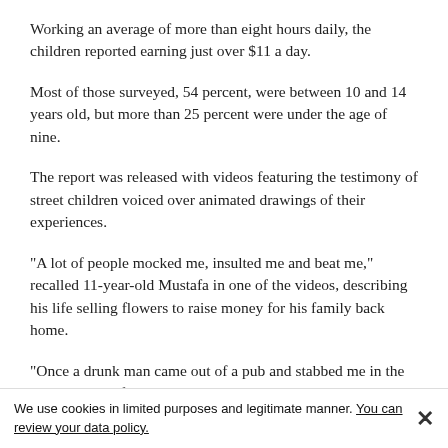Working an average of more than eight hours daily, the children reported earning just over $11 a day.
Most of those surveyed, 54 percent, were between 10 and 14 years old, but more than 25 percent were under the age of nine.
The report was released with videos featuring the testimony of street children voiced over animated drawings of their experiences.
"A lot of people mocked me, insulted me and beat me," recalled 11-year-old Mustafa in one of the videos, describing his life selling flowers to raise money for his family back home.
"Once a drunk man came out of a pub and stabbed me in the arm with a knife," he said.
"My favourite day was when I would go to the money transfer office to send money to my family in Syria."
[Figure (other): Two blue circular social media sharing icons]
We use cookies in limited purposes and legitimate manner. You can review your data policy.